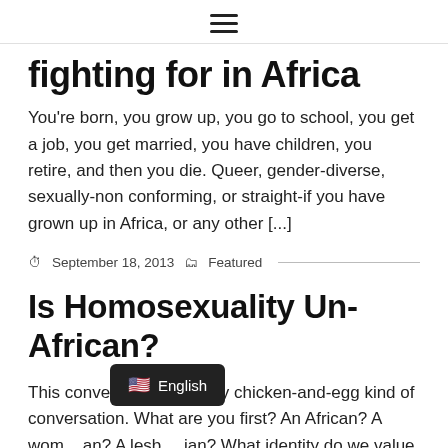☰
fighting for in Africa
You're born, you grow up, you go to school, you get a job, you get married, you have children, you retire, and then you die. Queer, gender-diverse, sexually-non conforming, or straight-if you have grown up in Africa, or any other [...]
September 18, 2013  Featured
Is Homosexuality Un-African?
This conversation is a very chicken-and-egg kind of conversation. What are you first? An African? A woman/man? A lesbian? What identity do we value the most?